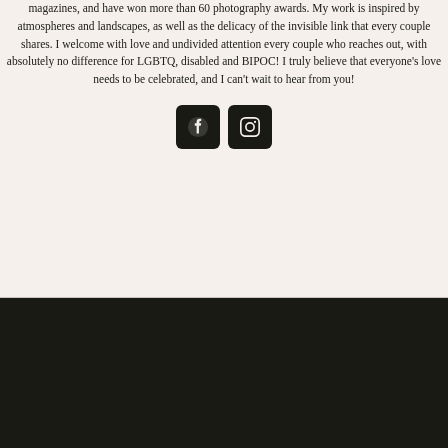magazines, and have won more than 60 photography awards. My work is inspired by atmospheres and landscapes, as well as the delicacy of the invisible link that every couple shares. I welcome with love and undivided attention every couple who reaches out, with absolutely no difference for LGBTQ, disabled and BIPOC! I truly believe that everyone's love needs to be celebrated, and I can't wait to hear from you!
[Figure (other): Two black rounded square icon buttons side by side: Facebook icon (circle with 'f') and Instagram icon (camera outline)]